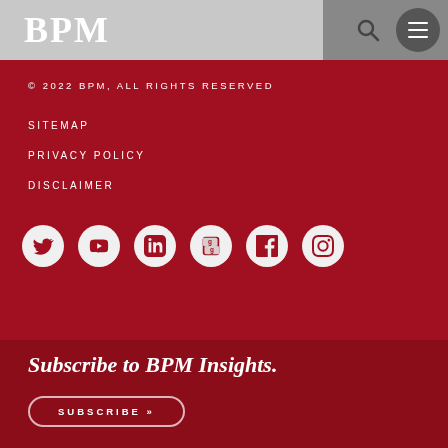BPM
© 2022 BPM, ALL RIGHTS RESERVED
SITEMAP
PRIVACY POLICY
DISCLAIMER
[Figure (other): Social media icons row: Twitter, YouTube, LinkedIn, Glassdoor, Facebook, Instagram]
Subscribe to BPM Insights.
SUBSCRIBE »